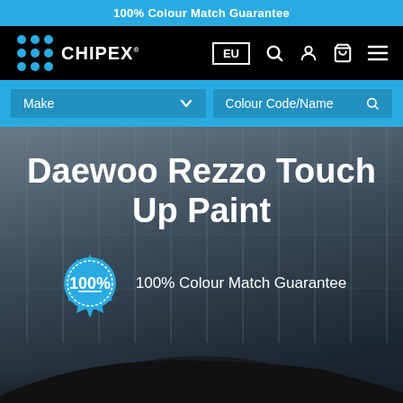100% Colour Match Guarantee
[Figure (logo): Chipex logo with blue dot pattern and white CHIPEX text on black navigation bar, with EU region selector and nav icons (search, account, cart, menu)]
[Figure (screenshot): Blue selector bar with Make dropdown and Colour Code/Name search field]
Daewoo Rezzo Touch Up Paint
100% Colour Match Guarantee